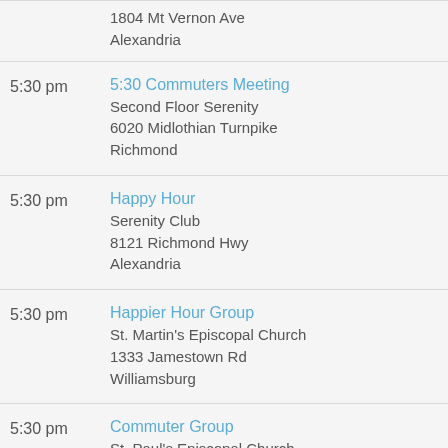1804 Mt Vernon Ave
Alexandria
5:30 pm
5:30 Commuters Meeting
Second Floor Serenity
6020 Midlothian Turnpike
Richmond
5:30 pm
Happy Hour
Serenity Club
8121 Richmond Hwy
Alexandria
5:30 pm
Happier Hour Group
St. Martin's Episcopal Church
1333 Jamestown Rd
Williamsburg
5:30 pm
Commuter Group
St. Paul's Episcopal Church
110 N Union St
Petersburg